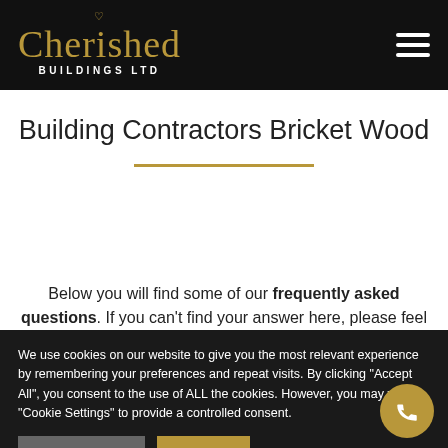Cherished BUILDINGS LTD
Building Contractors Bricket Wood
Below you will find some of our frequently asked questions. If you can't find your answer here, please feel
We use cookies on our website to give you the most relevant experience by remembering your preferences and repeat visits. By clicking "Accept All", you consent to the use of ALL the cookies. However, you may visit "Cookie Settings" to provide a controlled consent.